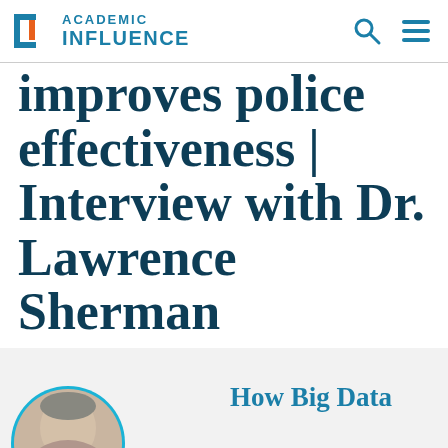ACADEMIC INFLUENCE
improves police effectiveness | Interview with Dr. Lawrence Sherman
[Figure (photo): Circular portrait photo of Dr. Lawrence Sherman with teal border, alongside text 'How Big Data']